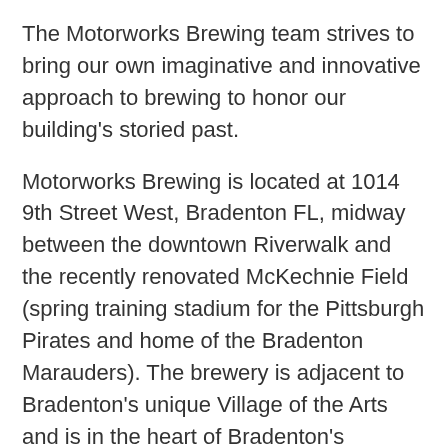The Motorworks Brewing team strives to bring our own imaginative and innovative approach to brewing to honor our building's storied past.
Motorworks Brewing is located at 1014 9th Street West, Bradenton FL, midway between the downtown Riverwalk and the recently renovated McKechnie Field (spring training stadium for the Pittsburgh Pirates and home of the Bradenton Marauders). The brewery is adjacent to Bradenton's unique Village of the Arts and is in the heart of Bradenton's expanding downtown entertainment corridor.
Motorworks Brewing boasts the largest beer garden in Florida, complete with a spacious deck built around a magnificent 150+ year-old oak tree, a 3-hole putting green, 2 bocce ball courts, over a dozen cornhole sets, life-sized jenga, a live music stage, 22 ft. projection